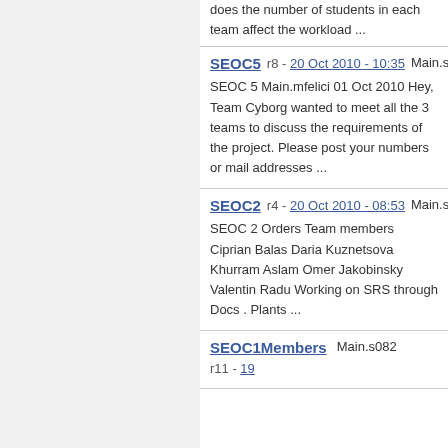does the number of students in each team affect the workload ...
SEOC5   r8 - 20 Oct 2010 - 10:35   Main.s105
SEOC 5 Main.mfelici 01 Oct 2010 Hey, Team Cyborg wanted to meet all the 3 teams to discuss the requirements of the project. Please post your numbers or mail addresses ...
SEOC2   r4 - 20 Oct 2010 - 08:53   Main.s103
SEOC 2 Orders Team members Ciprian Balas Daria Kuznetsova Khurram Aslam Omer Jakobinsky Valentin Radu Working on SRS through Docs . Plants ...
SEOCMembers   Main.s082   r11 - 19